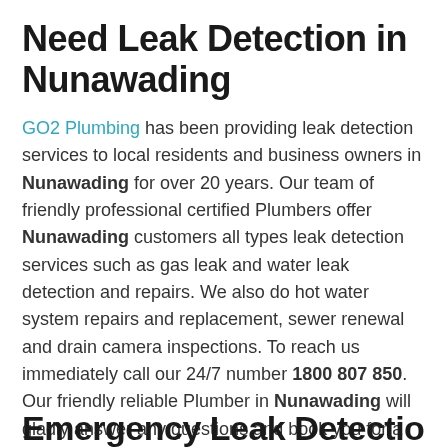Need Leak Detection in Nunawading
GO2 Plumbing has been providing leak detection services to local residents and business owners in Nunawading for over 20 years. Our team of friendly professional certified Plumbers offer Nunawading customers all types leak detection services such as gas leak and water leak detection and repairs. We also do hot water system repairs and replacement, sewer renewal and drain camera inspections. To reach us immediately call our 24/7 number 1800 807 850. Our friendly reliable Plumber in Nunawading will gladly answer any questions and book you for a service call at your convenience.
Emergency Leak Detectio…